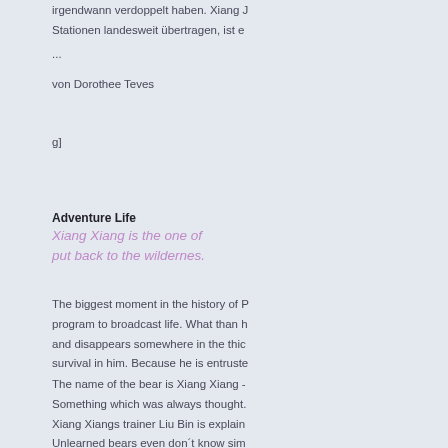irgendwann verdoppelt haben. Xiang ... Stationen landesweit übertragen, ist e ...
...
von Dorothee Teves
g]
Adventure Life
Xiang Xiang is the one of put back to the wildernes.
The biggest moment in the history of P program to broadcast life. What than h and disappears somewhere in the thic survival in him. Because he is entruste
The name of the bear is Xiang Xiang - Something which was always thought. Xiang Xiangs trainer Liu Bin is explain Unlearned bears even don´t know sim